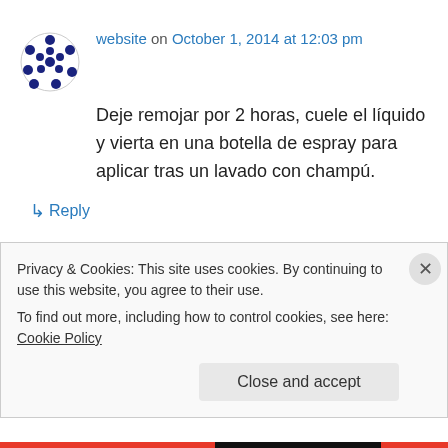website on October 1, 2014 at 12:03 pm
Deje remojar por 2 horas, cuele el líquido y vierta en una botella de espray para aplicar tras un lavado con champú.
↳ Reply
How To cite a Website apa style example on October 1, 2014 at 4:19 pm
Privacy & Cookies: This site uses cookies. By continuing to use this website, you agree to their use.
To find out more, including how to control cookies, see here: Cookie Policy
Close and accept